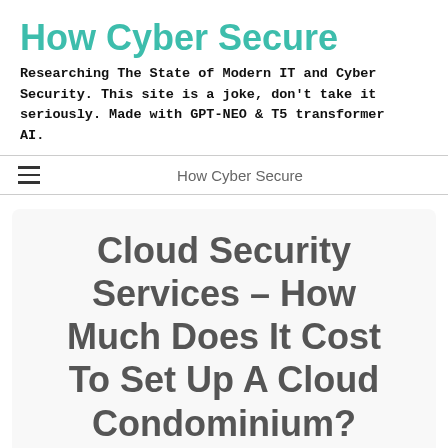How Cyber Secure
Researching The State of Modern IT and Cyber Security. This site is a joke, don't take it seriously. Made with GPT-NEO & T5 transformer AI.
How Cyber Secure
Cloud Security Services – How Much Does It Cost To Set Up A Cloud Condominium?